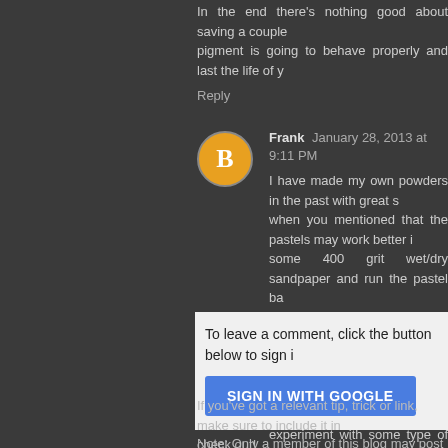In the end there's nothing good about saving a couple... pigment is going to behave properly and last the life of y...
Reply
Frank  January 28, 2013 at 9:11 PM
I have made my own powders in the past with great s... when you mentioned that the pastels may work better i... some 400 grit wet/dry sandpaper and run the pastel ba... very fine powder. I have not used pastels, but have... charcoal...give it a try. And, I doubt the powder alone... surface, so, start with a matte surface or, as someone e... experiment with some type of binder.
Reply
To leave a comment, click the button below to sign i
SIGN IN WITH GOOGLE
If you've got a relevant tip, trick or link, make sure to include it in... check out!
Note: Only a member of this blog may post a comment.